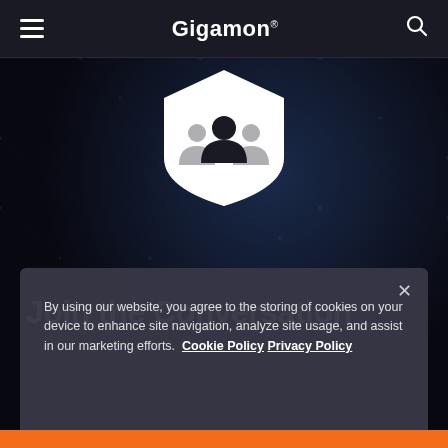Gigamon®
[Figure (illustration): White community/people icon badge on dark background — three stylized human figures inside a shield/badge shape]
Join the Conversation
By using our website, you agree to the storing of cookies on your device to enhance site navigation, analyze site usage, and assist in our marketing efforts. Cookie Policy Privacy Policy